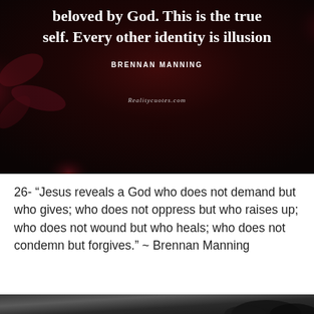[Figure (illustration): Dark red/black floral background with white bold quote text: 'beloved by God. This is the true self. Every other identity is illusion' and author name 'BRENNAN MANNING' and watermark 'Realitycuotes.com']
26- “Jesus reveals a God who does not demand but who gives; who does not oppress but who raises up; who does not wound but who heals; who does not condemn but forgives.” ~ Brennan Manning
[Figure (photo): Dark blurred nature/foliage background photo, partially visible at bottom of page]